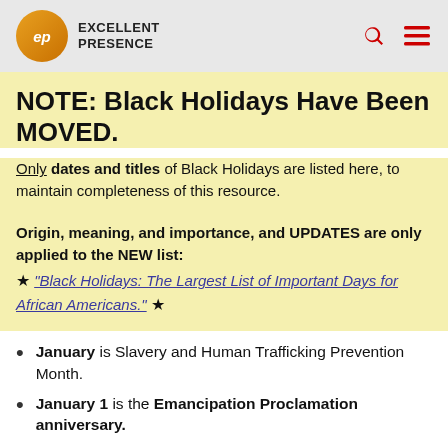EXCELLENT PRESENCE
NOTE: Black Holidays Have Been MOVED.
Only dates and titles of Black Holidays are listed here, to maintain completeness of this resource.
Origin, meaning, and importance, and UPDATES are only applied to the NEW list:
★ "Black Holidays: The Largest List of Important Days for African Americans." ★
January is Slavery and Human Trafficking Prevention Month.
January 1 is the Emancipation Proclamation anniversary.
January 5 is George Washington Carver Day.
The 3rd Monday in January is Martin King